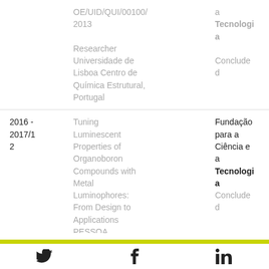| Date | Project | Funder |
| --- | --- | --- |
|  | OE/UID/QUI/00100/2013

Researcher
Universidade de Lisboa Centro de Química Estrutural, Portugal | a Tecnologia

Concluded |
| 2016 - 2017/12 | Tuning Luminescent Properties of Organoboron Compounds with Metal Luminophores: From Design to Applications
PESSOA | Fundação para a Ciência e a Tecnologia
Concluded |
Twitter | Facebook | LinkedIn